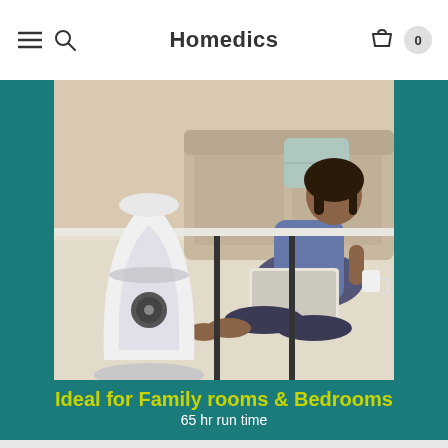Homedics
[Figure (photo): Woman sitting on a white shag carpet floor in a living room, using a laptop, with a white Homedics humidifier in the foreground on a table. Teal background behind the photo.]
Ideal for Family rooms & Bedrooms
65 hr run time